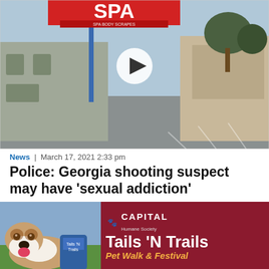[Figure (photo): Exterior photo of a Gold Spa building with a sign reading 'SPA' and a video play button overlay. Daytime, parking lot visible.]
News  |  March 17, 2021 2:33 pm
Police: Georgia shooting suspect may have 'sexual addiction'
[Figure (photo): Mugshot-style photo of a young man wearing glasses and a brown cap, looking directly at camera.]
[Figure (photo): Advertisement banner for Capital Humane Society Tails 'N Trails Pet Walk & Festival, showing a Saint Bernard dog on the left side.]